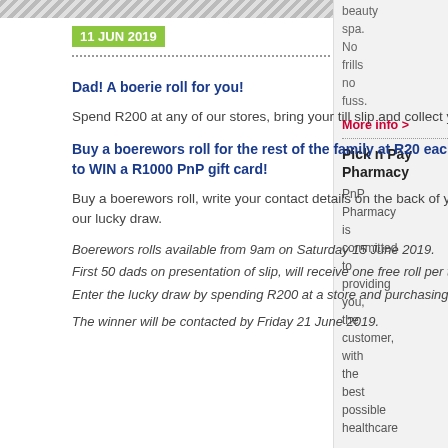11 JUN 2019
Dad! A boerie roll for you!
Spend R200 at any of our stores, bring your till slip and collect your boerewors roll. First 50 Dads only.
Buy a boerewors roll for the rest of the family at R20 each & you could be one of 2 lucky dads to WIN a R1000 PnP gift card!
Buy a boerewors roll, write your contact details on the back of your R200 store slip & receive an entry to our lucky draw.
Boerewors rolls available from 9am on Saturday 15 June 2019.
First 50 dads on presentation of slip, will receive one free roll per till slip.
Enter the lucky draw by spending R200 at a store and purchasing a boerewors roll, while stocks lasts.
The winner will be contacted by Friday 21 June 2019.
beauty spa. No frills no fuss.
More info >
Pick n Pay Pharmacy
PnP Pharmacy is committed to providing you, the customer, with the best possible healthcare